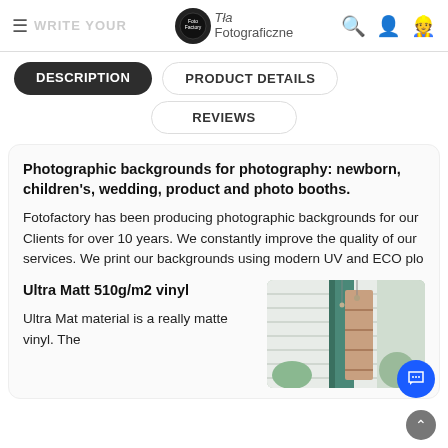WRITE YOUR — Tła Fotograficzne — [nav icons]
DESCRIPTION
PRODUCT DETAILS
REVIEWS
Photographic backgrounds for photography: newborn, children's, wedding, product and photo booths.
Fotofactory has been producing photographic backgrounds for our Clients for over 10 years. We constantly improve the quality of our services. We print our backgrounds using modern UV and ECO plo
Ultra Matt 510g/m2 vinyl
Ultra Mat material is a really matte vinyl. The
[Figure (photo): Product photo showing a photographic background with green and teal tones, decorative items hanging]